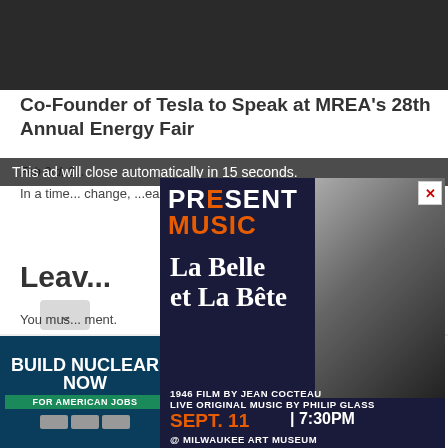[Figure (photo): Dark background image at top of article page]
Co-Founder of Tesla to Speak at MREA's 28th Annual Energy Fair
Feb 3rd, 2...
In a time... change, ... clean energy f...
Leav...
You mus... ment. Members... ad-free website, ... photo or and access to members-only, behind-the-scenes tours.
This ad will close automatically in 15 seconds.
[Figure (illustration): Present Music 2022 Season advertisement overlay. Shows 'PRESENT MUSIC' logo with '2022 SEASON', title 'La Belle et La Bête', '1946 FILM BY JEAN COCTEAU / LIVE ORIGINAL MUSIC BY PHILIP GLASS', 'SEPT. 11 | 7:30PM @ MILWAUKEE ART MUSEUM', 'Tickets Start at $15 · Get Yours HERE!', with beast creature photo on the right side and UPAF logo.]
[Figure (illustration): BUILD NUCLEAR NOW advertisement. Left side dark blue with 'BUILD NUCLEAR NOW FOR AMERICAN JOBS' text and sponsor logos. Right side white with 'Clean. Secure. Homegrown.' text, 'Open' button, and 'Build Nuclear Now' brand name.]